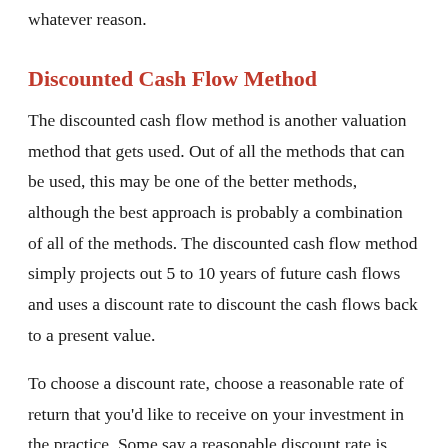whatever reason.
Discounted Cash Flow Method
The discounted cash flow method is another valuation method that gets used. Out of all the methods that can be used, this may be one of the better methods, although the best approach is probably a combination of all of the methods. The discounted cash flow method simply projects out 5 to 10 years of future cash flows and uses a discount rate to discount the cash flows back to a present value.
To choose a discount rate, choose a reasonable rate of return that you'd like to receive on your investment in the practice. Some say a reasonable discount rate is somewhere in the 15 to 20 percent range. The more